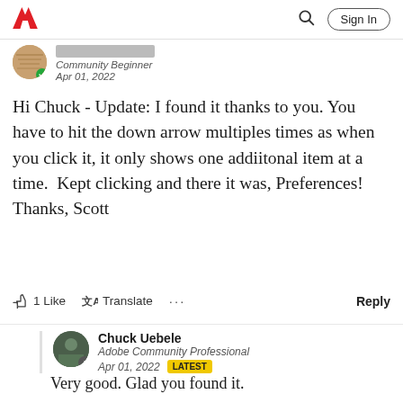Adobe | Sign In
Community Beginner
Apr 01, 2022
Hi Chuck - Update: I found it thanks to you. You have to hit the down arrow multiples times as when you click it, it only shows one addiitonal item at a time.  Kept clicking and there it was, Preferences!  Thanks, Scott
1 Like   Translate   ...   Reply
Chuck Uebele
Adobe Community Professional
Apr 01, 2022  LATEST
Very good. Glad you found it.